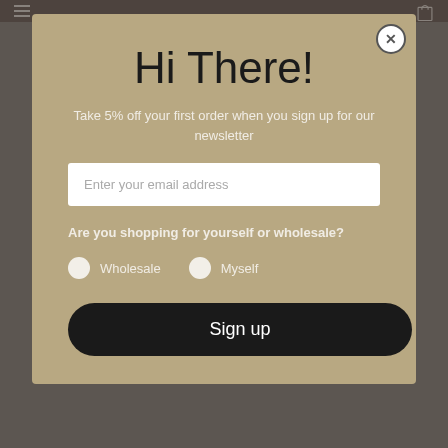[Figure (screenshot): Website background with dark header bar showing hamburger menu icon on left and shopping bag icon on right]
Hi There!
Take 5% off your first order when you sign up for our newsletter
Enter your email address
Are you shopping for yourself or wholesale?
Wholesale
Myself
Sign up